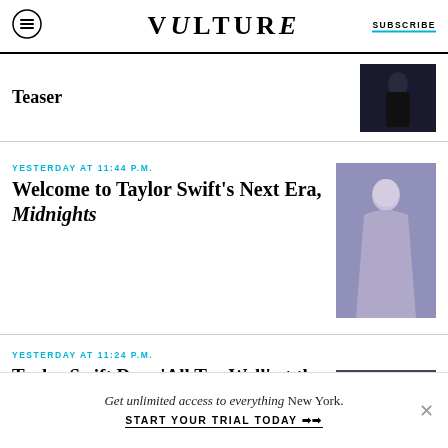VULTURE | SUBSCRIBE
Teaser
YESTERDAY AT 11:44 P.M.
Welcome to Taylor Swift's Next Era, Midnights
YESTERDAY AT 11:24 P.M.
Taylor Swift Does 'All Too Well' at the 2022 MTV VMAs
Get unlimited access to everything New York.
START YOUR TRIAL TODAY ➜➜